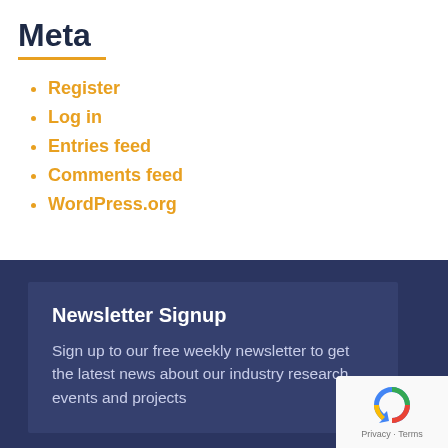Meta
Register
Log in
Entries feed
Comments feed
WordPress.org
Newsletter Signup
Sign up to our free weekly newsletter to get the latest news about our industry research, events and projects